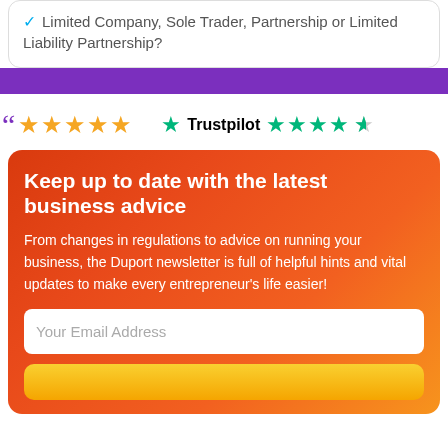Limited Company, Sole Trader, Partnership or Limited Liability Partnership?
[Figure (infographic): Purple bar separator]
[Figure (infographic): Review section with yellow 5-star rating and Trustpilot green 4.5-star rating]
Keep up to date with the latest business advice
From changes in regulations to advice on running your business, the Duport newsletter is full of helpful hints and vital updates to make every entrepreneur's life easier!
Your Email Address